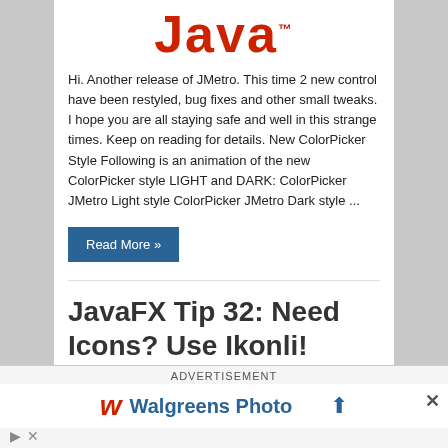[Figure (logo): Java logo in red bold italic text]
Hi. Another release of JMetro. This time 2 new control have been restyled, bug fixes and other small tweaks. I hope you are all staying safe and well in this strange times. Keep on reading for details. New ColorPicker Style Following is an animation of the new ColorPicker style LIGHT and DARK: ColorPicker JMetro Light style ColorPicker JMetro Dark style ...
Read More »
JavaFX Tip 32: Need Icons? Use Ikonli!
ADVERTISEMENT
[Figure (logo): Walgreens Photo advertisement banner with red cursive W icon, blue Walgreens Photo text, and blue bird icon]